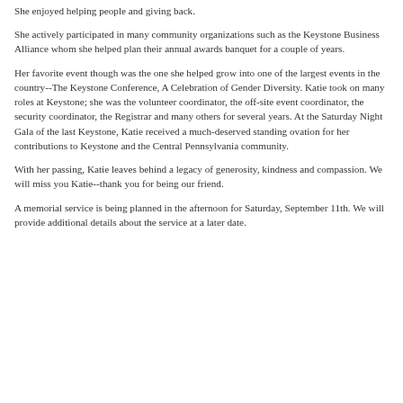She enjoyed helping people and giving back.
She actively participated in many community organizations such as the Keystone Business Alliance whom she helped plan their annual awards banquet for a couple of years.
Her favorite event though was the one she helped grow into one of the largest events in the country--The Keystone Conference, A Celebration of Gender Diversity. Katie took on many roles at Keystone; she was the volunteer coordinator, the off-site event coordinator, the security coordinator, the Registrar and many others for several years. At the Saturday Night Gala of the last Keystone, Katie received a much-deserved standing ovation for her contributions to Keystone and the Central Pennsylvania community.
With her passing, Katie leaves behind a legacy of generosity, kindness and compassion. We will miss you Katie--thank you for being our friend.
A memorial service is being planned in the afternoon for Saturday, September 11th. We will provide additional details about the service at a later date.